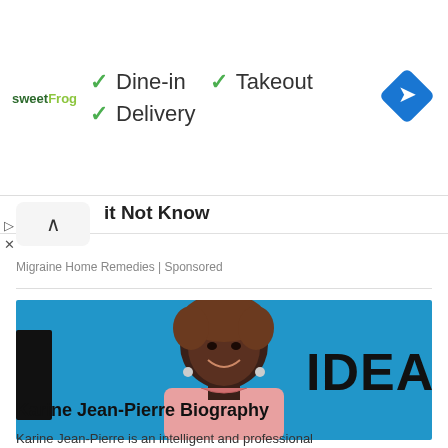[Figure (screenshot): Advertisement banner for sweetFrog showing checkmarks for Dine-in, Takeout, and Delivery options with a navigation/directions diamond icon on the right]
it Not Know
Migraine Home Remedies | Sponsored
[Figure (photo): Karine Jean-Pierre smiling, wearing a pink sleeveless dress, in front of a blue background with the word IDEAS visible]
Karine Jean-Pierre Biography
Karine Jean-Pierre is an intelligent and professional